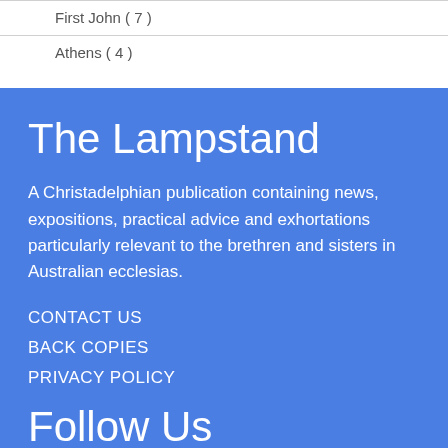First John ( 7 )
Athens ( 4 )
The Lampstand
A Christadelphian publication containing news, expositions, practical advice and exhortations particularly relevant to the brethren and sisters in Australian ecclesias.
CONTACT US
BACK COPIES
PRIVACY POLICY
Follow Us